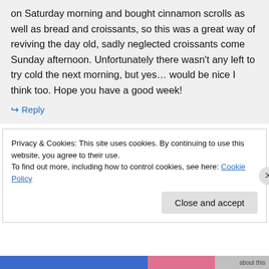on Saturday morning and bought cinnamon scrolls as well as bread and croissants, so this was a great way of reviving the day old, sadly neglected croissants come Sunday afternoon. Unfortunately there wasn't any left to try cold the next morning, but yes… would be nice I think too. Hope you have a good week!
↳ Reply
Privacy & Cookies: This site uses cookies. By continuing to use this website, you agree to their use.
To find out more, including how to control cookies, see here: Cookie Policy
Close and accept